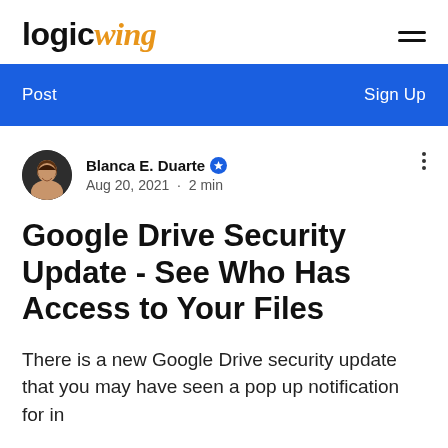logicwing
Post   Sign Up
Blanca E. Duarte  Aug 20, 2021 · 2 min
Google Drive Security Update - See Who Has Access to Your Files
There is a new Google Drive security update that you may have seen a pop up notification for in